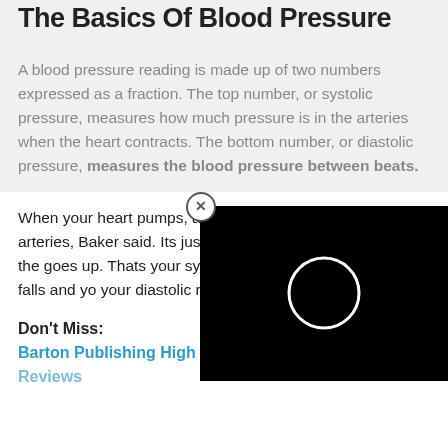The Basics Of Blood Pressure
A blood pressure reading is made up of two numbers expressed as a fraction. The top number, or systolic pressure, measures how much pressure is in the arteries when the heart contracts. The bottom number, or diastolic pressure, measures the blood pressure between beats.
When your heart pumps, all that blood rushes and fills your arteries, Baker said. Its just like more water into the system, the goes up. Thats your systolic rea and fills, the reading falls and yo your diastolic reading.
[Figure (screenshot): Black video player overlay with a white circle loading spinner icon and a close (X) button in the top-left corner.]
Don't Miss:
Barton Publishing High Blood Pressure Solution Kit Reviews
Reviews